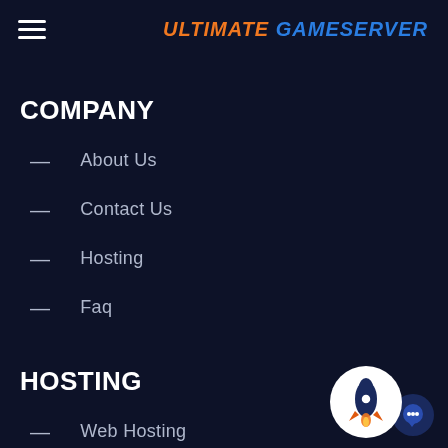ULTIMATE GAMESERVER
COMPANY
— About Us
— Contact Us
— Hosting
— Faq
HOSTING
— Web Hosting
[Figure (logo): Rocket icon widget with chat bubble in bottom right corner]